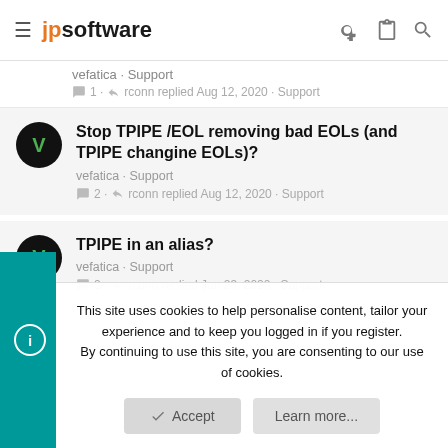jpsoftware
vefatica · Support
1 · rconn replied Aug 12, 2020 · Support
Stop TPIPE /EOL removing bad EOLs (and TPIPE changine EOLs)?
vefatica · Support
2 · rconn replied Aug 12, 2020 · Support
TPIPE in an alias?
vefatica · Support
2 · rconn replied Jun 23, 2020 · Support
This site uses cookies to help personalise content, tailor your experience and to keep you logged in if you register.
By continuing to use this site, you are consenting to our use of cookies.